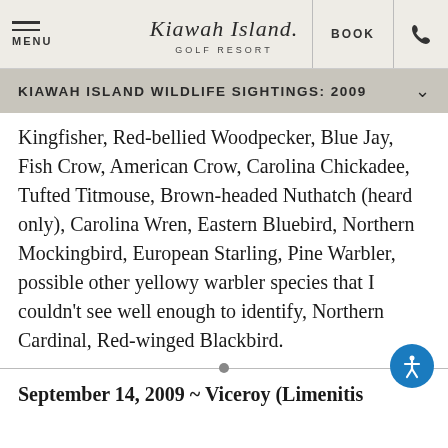MENU | Kiawah Island Golf Resort | BOOK | [phone]
KIAWAH ISLAND WILDLIFE SIGHTINGS: 2009
Kingfisher, Red-bellied Woodpecker, Blue Jay, Fish Crow, American Crow, Carolina Chickadee, Tufted Titmouse, Brown-headed Nuthatch (heard only), Carolina Wren, Eastern Bluebird, Northern Mockingbird, European Starling, Pine Warbler, possible other yellowy warbler species that I couldn't see well enough to identify, Northern Cardinal, Red-winged Blackbird.
September 14, 2009 ~ Viceroy (Limenitis archippus)